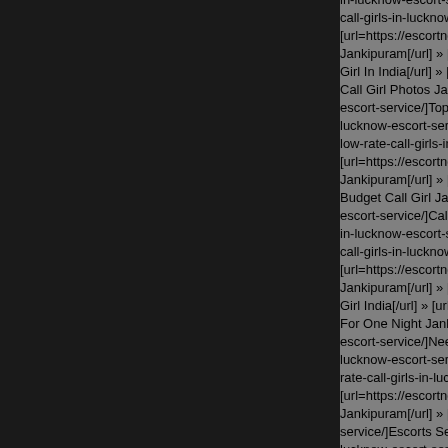in-lucknow-escort-service/]Gir... call-girls-in-lucknow-escort-ser... [url=https://escortncr.com/best... Jankipuram[/url] » [url=https://... Girl In India[/url] » [url=https://e... Call Girl Photos Jankipuram[/u... escort-service/]Top Call Girl Ja... lucknow-escort-service/]Cheap... low-rate-call-girls-in-lucknow-e... [url=https://escortncr.com/best... Jankipuram[/url] » [url=https://e... Budget Call Girl Jankipuram[/u... escort-service/]Call Girl For Se... in-lucknow-escort-service/]Cal... call-girls-in-lucknow-escort-ser... [url=https://escortncr.com/best... Jankipuram[/url] » [url=https://... Girl India[/url] » [url=https://esc... For One Night Jankipuram[/url... escort-service/]Need Call Girl J... lucknow-escort-service/]How T... rate-call-girls-in-lucknow-escor... [url=https://escortncr.com/best... Jankipuram[/url] » [url=https://e... service/]Escorts Service Janki... lucknow-escort-service/]Price ... call-girls-in-lucknow-escort-ser... [url=https://escortncr.com/best... Jankipuram[/url] » [url=https://e... Girl Phone No Jankipuram[/url... escort-service/]Best Call Girls...